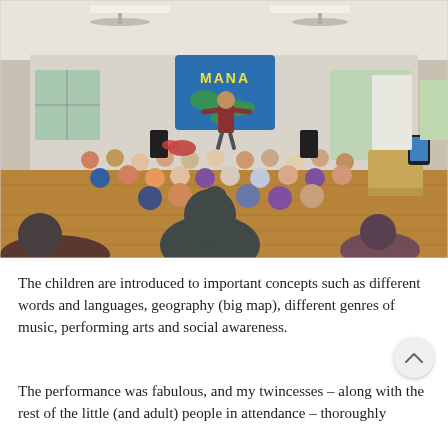[Figure (photo): Indoor performance scene: a performer stands on a small stage with arms outstretched in front of a colourful 'MANA' banner/map backdrop. A large group of children are seated on a wooden floor watching the performance, with adults (parents/carers) seated and standing around the edges of the room. The room is a community or childcare centre with ceiling fans, windows, and hardwood floors.]
The children are introduced to important concepts such as different words and languages, geography (big map), different genres of music, performing arts and social awareness.
The performance was fabulous, and my twincesses – along with the rest of the little (and adult) people in attendance – thoroughly